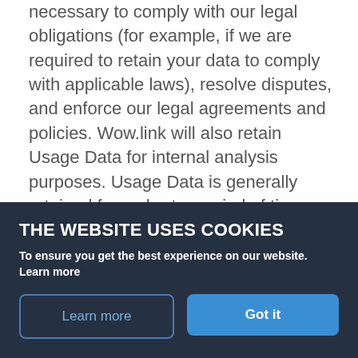necessary to comply with our legal obligations (for example, if we are required to retain your data to comply with applicable laws), resolve disputes, and enforce our legal agreements and policies. Wow.link will also retain Usage Data for internal analysis purposes. Usage Data is generally retained for a shorter period of time, except when this data is used to strengthen the security or to improve the functionality of our Service, or we are legally obligated to retain this data for longer time periods.
THE WEBSITE USES COOKIES
To ensure you get the best experience on our website. Learn more
Learn more
Got it